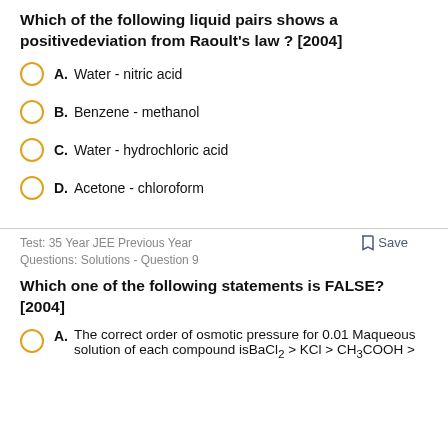Which of the following liquid pairs shows a positivedeviation from Raoult's law ? [2004]
A. Water - nitric acid
B. Benzene - methanol
C. Water - hydrochloric acid
D. Acetone - chloroform
Test: 35 Year JEE Previous Year Questions: Solutions - Question 9
Which one of the following statements is FALSE? [2004]
A. The correct order of osmotic pressure for 0.01 Maqueous solution of each compound isBaCl₂ > KCl > CH₃COOH >